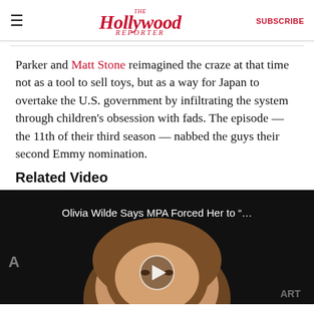The Hollywood Reporter | SUBSCRIBE
Parker and Matt Stone reimagined the craze at that time not as a tool to sell toys, but as a way for Japan to overtake the U.S. government by infiltrating the system through children's obsession with fads. The episode — the 11th of their third season — nabbed the guys their second Emmy nomination.
Related Video
[Figure (photo): Video thumbnail showing Olivia Wilde with title text 'Olivia Wilde Says MPA Forced Her to "…' overlaid on a dark background, with a play button in the center. Partial letters 'A' on left and 'ART' on bottom right.]